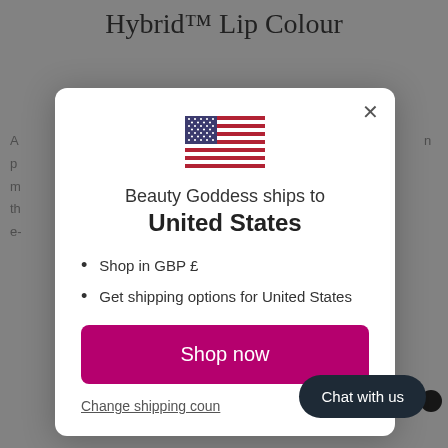Hybrid™ Lip Colour
[Figure (screenshot): Modal dialog popup on a beauty e-commerce website. Shows a US flag icon, text 'Beauty Goddess ships to United States', bullet points 'Shop in GBP £' and 'Get shipping options for United States', a magenta 'Shop now' button, and a 'Change shipping country' link. A dark 'Chat with us' pill button appears in the bottom right corner.]
Shop in GBP £
Get shipping options for United States
Beauty Goddess ships to
United States
Shop now
Change shipping country
Chat with us